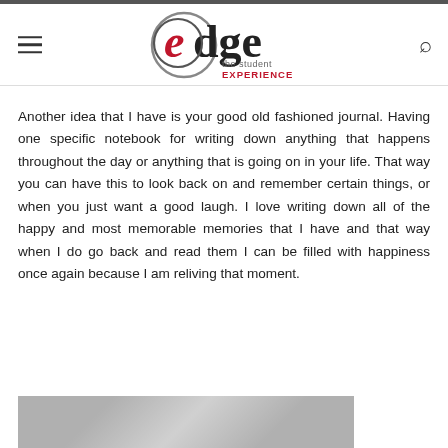edge the student EXPERIENCE
Another idea that I have is your good old fashioned journal. Having one specific notebook for writing down anything that happens throughout the day or anything that is going on in your life. That way you can have this to look back on and remember certain things, or when you just want a good laugh. I love writing down all of the happy and most memorable memories that I have and that way when I do go back and read them I can be filled with happiness once again because I am reliving that moment.
[Figure (photo): Photo of journals/notebooks on a textured surface, partially visible at bottom of page]